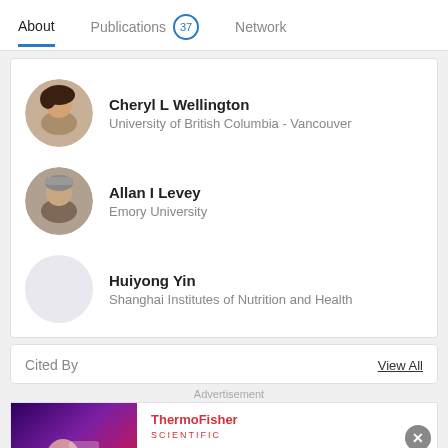About | Publications 37 | Network
Cheryl L Wellington
University of British Columbia - Vancouver
Allan I Levey
Emory University
Huiyong Yin
Shanghai Institutes of Nutrition and Health
Cited By
View All
Advertisement
[Figure (screenshot): ThermoFisher Scientific advertisement banner with dark purple/pink gradient background showing a scientist]
ThermoFisher SCIENTIFIC
Gene Synthesis Handbook